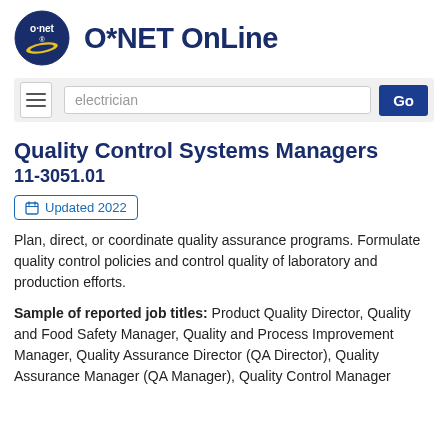[Figure (logo): O*NET Online logo with blue circle and yellow swoosh, text 'o·net' inside]
O*NET OnLine
[Figure (screenshot): Search bar with hamburger menu icon, search field showing 'electrician', and blue Go button]
Quality Control Systems Managers
11-3051.01
Updated 2022
Plan, direct, or coordinate quality assurance programs. Formulate quality control policies and control quality of laboratory and production efforts.
Sample of reported job titles: Product Quality Director, Quality and Food Safety Manager, Quality and Process Improvement Manager, Quality Assurance Director (QA Director), Quality Assurance Manager (QA Manager), Quality Control Manager